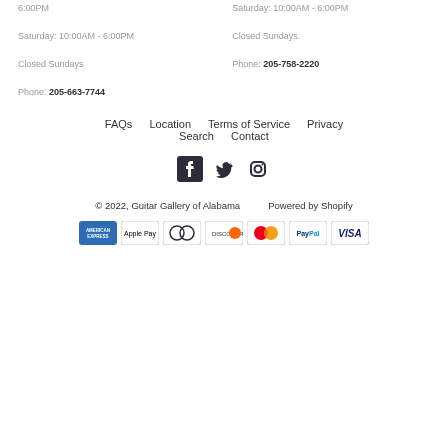6:00PM
Saturday: 10:00AM - 6:00PM
Closed Sundays
Phone: 205-663-7744
Saturday: 10:00AM - 6:00PM
Closed Sundays.
Phone: 205-758-2220
FAQs   Location   Terms of Service   Privacy
Search   Contact
[Figure (other): Social media icons: Facebook, Twitter, Instagram]
© 2022, Guitar Gallery of Alabama   Powered by Shopify
[Figure (other): Payment icons: American Express, Apple Pay, Diners Club, Discover, MasterCard, PayPal, Visa]